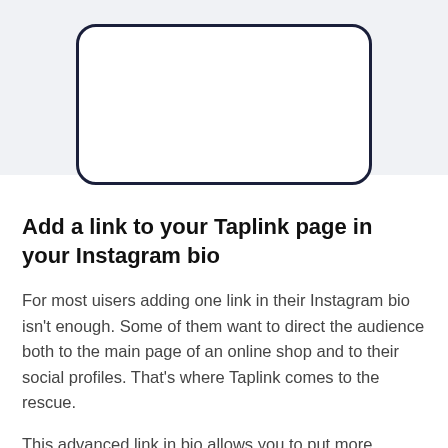[Figure (illustration): Partial view of a smartphone frame (rounded rectangle border) on a light gray background, cropped at the top of the page showing only the bottom portion of the device.]
Add a link to your Taplink page in your Instagram bio
For most uisers adding one link in their Instagram bio isn't enough. Some of them want to direct the audience both to the main page of an online shop and to their social profiles. That's where Taplink comes to the rescue.
This advanced link in bio allows you to put more